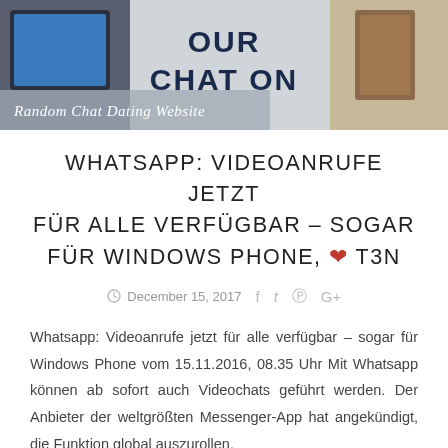[Figure (photo): Banner image showing a handwritten sign saying 'CHAT ON' with text overlay reading 'Random Chat Dating Website']
WHATSAPP: VIDEOANRUFE JETZT FÜR ALLE VERFÜGBAR – SOGAR FÜR WINDOWS PHONE, ♥ T3N
December 15, 2017  f  t  ⊕  G+
Whatsapp: Videoanrufe jetzt für alle verfügbar – sogar für Windows Phone vom 15.11.2016, 08.35 Uhr Mit Whatsapp können ab sofort auch Videochats geführt werden. Der Anbieter der weltgrößten Messenger-App hat angekündigt, die Funktion global auszurollen.